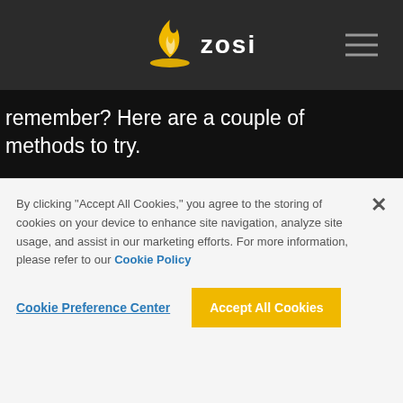ZOSI
remember? Here are a couple of methods to try.
Choose four to six random, unrelated words. Make sure they're not related to you. Don't use pet or street names.
By clicking "Accept All Cookies," you agree to the storing of cookies on your device to enhance site navigation, analyze site usage, and assist in our marketing efforts. For more information, please refer to our Cookie Policy
Cookie Preference Center
Accept All Cookies